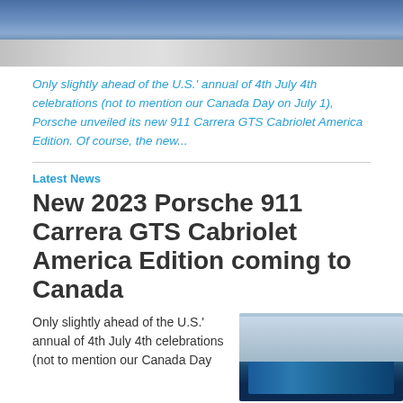[Figure (photo): Top portion of a Porsche 911 car photo, showing the rear and wheel area in blue, partially cropped at top]
Only slightly ahead of the U.S.' annual of 4th July 4th celebrations (not to mention our Canada Day on July 1), Porsche unveiled its new 911 Carrera GTS Cabriolet America Edition. Of course, the new...
Latest News
New 2023 Porsche 911 Carrera GTS Cabriolet America Edition coming to Canada
Only slightly ahead of the U.S.' annual of 4th July 4th celebrations (not to mention our Canada Day
[Figure (photo): Thumbnail photo of a blue Porsche 911 Carrera GTS Cabriolet convertible with city skyline in background]